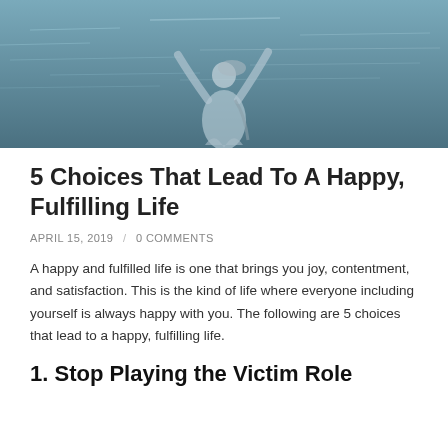[Figure (photo): A woman with arms raised standing near water, photographed from the back in a light-colored outfit near an ocean or lake.]
5 Choices That Lead To A Happy, Fulfilling Life
APRIL 15, 2019  /  0 COMMENTS
A happy and fulfilled life is one that brings you joy, contentment, and satisfaction. This is the kind of life where everyone including yourself is always happy with you. The following are 5 choices that lead to a happy, fulfilling life.
1. Stop Playing the Victim Role